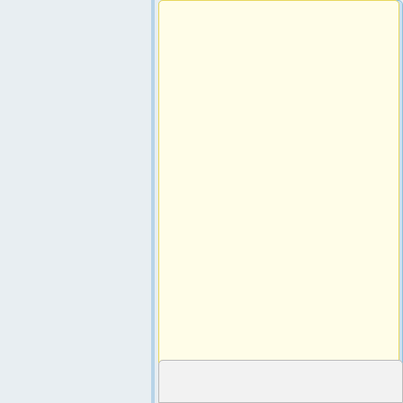but the screen is still displayed and usable in bright front-light.}}
However, if your phone came preloaded with software, Please see [[PinePhone Updating Instructions]].
–